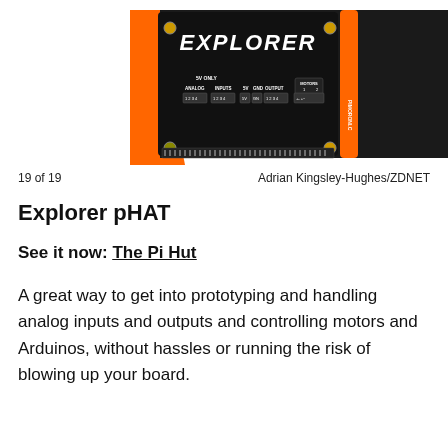[Figure (photo): Photo of Pimoroni Explorer pHAT circuit board showing EXPLORER text, analog inputs/outputs, 5V, GND, and motor connectors on a black PCB with orange accents]
19 of 19   Adrian Kingsley-Hughes/ZDNET
Explorer pHAT
See it now: The Pi Hut
A great way to get into prototyping and handling analog inputs and outputs and controlling motors and Arduinos, without hassles or running the risk of blowing up your board.